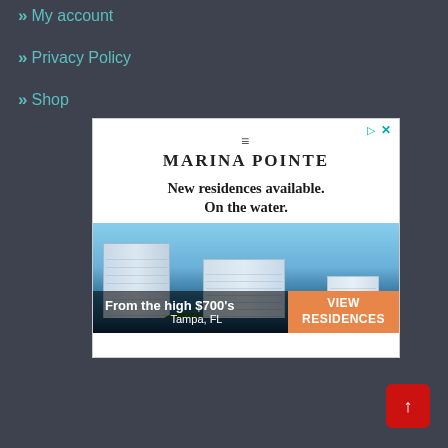My account
Privacy Policy
Shop
[Figure (screenshot): Marina Pointe real estate advertisement. Shows luxury waterfront high-rise towers. Text: 'MARINA POINTE', 'New residences available. On the water.', 'From the high $700's', 'Tampa, FL', 'VIEW RESIDENCES' button.]